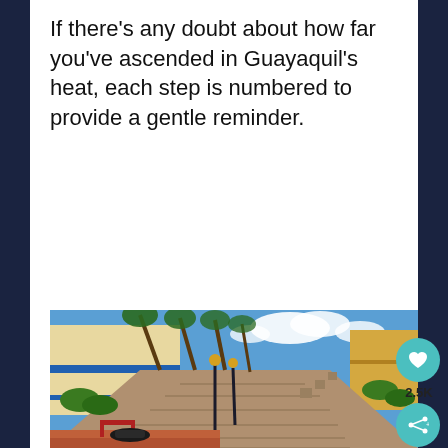If there's any doubt about how far you've ascended in Guayaquil's heat, each step is numbered to provide a gentle reminder.
[Figure (photo): A wide staircase in Guayaquil, Ecuador, flanked by tall palm trees, decorative lampposts, colorful buildings with blue trim on the left, and hedged planters going up the hill. A red bench and a cannon are visible at the bottom. Bright blue sky with clouds in the background.]